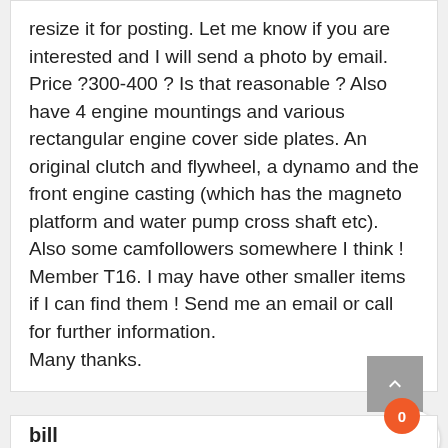resize it for posting. Let me know if you are interested and I will send a photo by email. Price ?300-400 ? Is that reasonable ? Also have 4 engine mountings and various rectangular engine cover side plates. An original clutch and flywheel, a dynamo and the front engine casting (which has the magneto platform and water pump cross shaft etc). Also some camfollowers somewhere I think ! Member T16. I may have other smaller items if I can find them ! Send me an email or call for further information.
Many thanks.
bill